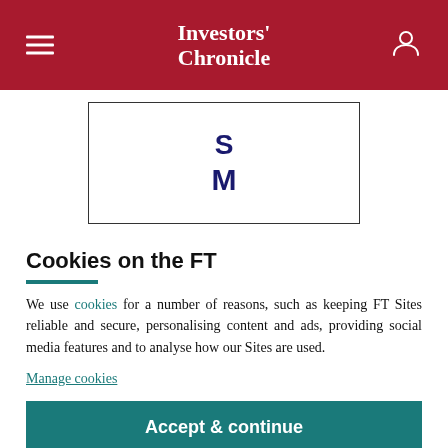Investors' Chronicle
[Figure (other): Box with letters S and M in dark blue, partially visible, centered on white background with border]
Cookies on the FT
We use cookies for a number of reasons, such as keeping FT Sites reliable and secure, personalising content and ads, providing social media features and to analyse how our Sites are used.
Manage cookies
Accept & continue